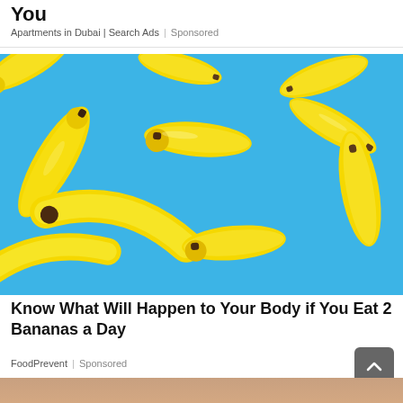You
Apartments in Dubai | Search Ads | Sponsored
[Figure (photo): Multiple yellow bananas floating against a bright blue background, colorful food photography]
Know What Will Happen to Your Body if You Eat 2 Bananas a Day
FoodPrevent | Sponsored